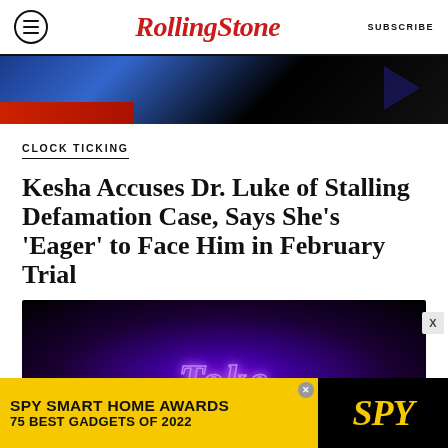Rolling Stone | SUBSCRIBE
[Figure (photo): Partial top image with blue and black background, red stripe at bottom left, dark arrow shape on right]
CLOCK TICKING
Kesha Accuses Dr. Luke of Stalling Defamation Case, Says She’s ‘Eager’ to Face Him in February Trial
BY NANCY DILLON
[Figure (photo): Dark photo with purple neon sign text partially visible at bottom, appearing to read a stylized letter/word]
[Figure (infographic): SPY Smart Home Awards advertisement banner — SPY SMART HOME AWARDS / 75 BEST GADGETS OF 2022 on yellow background with SPY logo on black right panel]